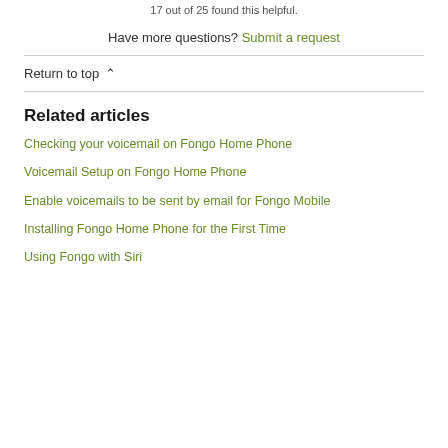17 out of 25 found this helpful.
Have more questions? Submit a request
Return to top
Related articles
Checking your voicemail on Fongo Home Phone
Voicemail Setup on Fongo Home Phone
Enable voicemails to be sent by email for Fongo Mobile
Installing Fongo Home Phone for the First Time
Using Fongo with Siri